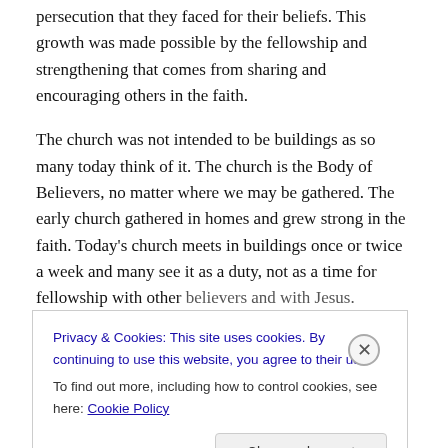persecution that they faced for their beliefs. This growth was made possible by the fellowship and strengthening that comes from sharing and encouraging others in the faith.
The church was not intended to be buildings as so many today think of it. The church is the Body of Believers, no matter where we may be gathered. The early church gathered in homes and grew strong in the faith. Today's church meets in buildings once or twice a week and many see it as a duty, not as a time for fellowship with other believers and with Jesus.
Privacy & Cookies: This site uses cookies. By continuing to use this website, you agree to their use. To find out more, including how to control cookies, see here: Cookie Policy
Close and accept